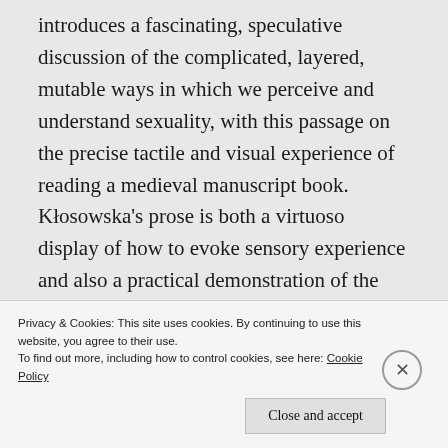introduces a fascinating, speculative discussion of the complicated, layered, mutable ways in which we perceive and understand sexuality, with this passage on the precise tactile and visual experience of reading a medieval manuscript book. Kłosowska's prose is both a virtuoso display of how to evoke sensory experience and also a practical demonstration of the value of seemingly tiny, decorative or curious details, to tell us about the lived experience of medieval scribes, illuminators, booksellers, book readers, and even the dismembered medieval cows and sheep whose skins
Privacy & Cookies: This site uses cookies. By continuing to use this website, you agree to their use.
To find out more, including how to control cookies, see here: Cookie Policy
Close and accept